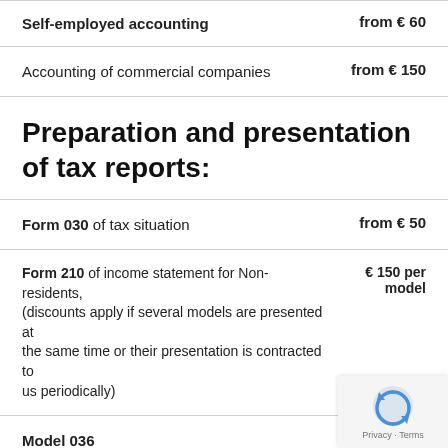Self-employed accounting    from € 60
Accounting of commercial companies    from € 150
Preparation and presentation of tax reports:
Form 030 of tax situation    from € 50
Form 210 of income statement for Non-residents, (discounts apply if several models are presented at the same time or their presentation is contracted to us periodically)    € 150 per model
Model 036    € 150
If you contract us the constitution of the company    FREE